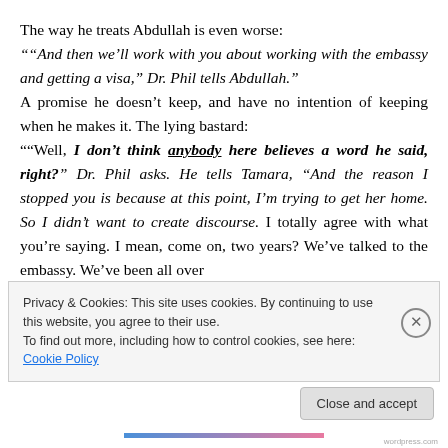The way he treats Abdullah is even worse: "“And then we’ll work with you about working with the embassy and getting a visa,” Dr. Phil tells Abdullah.” A promise he doesn’t keep, and have no intention of keeping when he makes it. The lying bastard: "“Well, I don’t think anybody here believes a word he said, right?” Dr. Phil asks. He tells Tamara, “And the reason I stopped you is because at this point, I’m trying to get her home. So I didn’t want to create discourse. I totally agree with what you’re saying. I mean, come on, two years? We’ve talked to the embassy. We’ve been all over
Privacy & Cookies: This site uses cookies. By continuing to use this website, you agree to their use. To find out more, including how to control cookies, see here: Cookie Policy